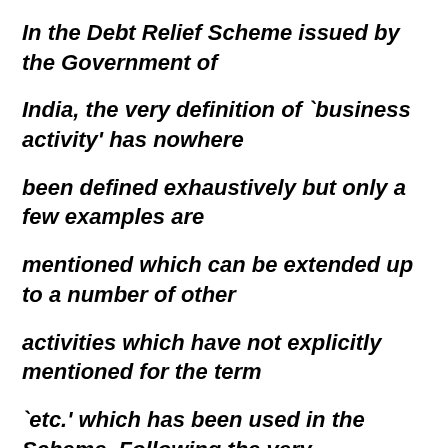In the Debt Relief Scheme issued by the Government of India, the very definition of `business activity' has nowhere been defined exhaustively but only a few examples are mentioned which can be extended up to a number of other activities which have not explicitly mentioned for the term `etc.' which has been used in the Scheme. Following the very purpose of giving the effect of the said Scheme, it is off...